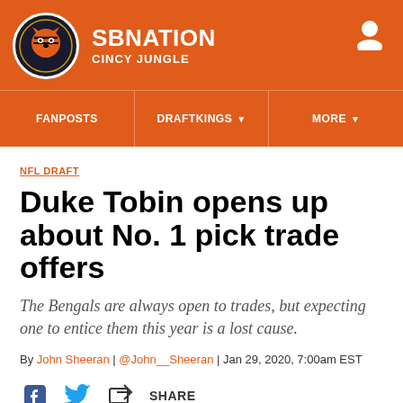SB NATION — CINCY JUNGLE
FANPOSTS | DRAFTKINGS | MORE
NFL DRAFT
Duke Tobin opens up about No. 1 pick trade offers
The Bengals are always open to trades, but expecting one to entice them this year is a lost cause.
By John Sheeran | @John__Sheeran | Jan 29, 2020, 7:00am EST